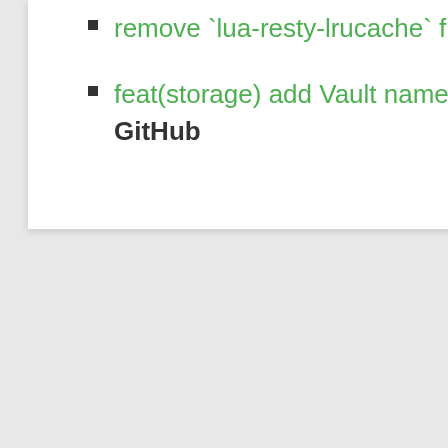remove `lua-resty-lrucache` from rockspec (#65), GitHub
feat(storage) add Vault namespace (#63), GitHub
[Figure (illustration): A cartoon rabbit/octocat-style mascot illustration with a redacted/blurred face area, holding arms out, with legs visible below]
[]